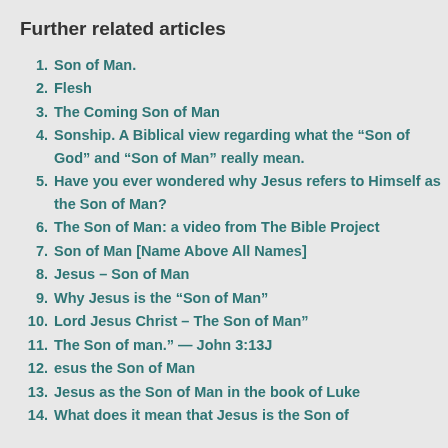Further related articles
Son of Man.
Flesh
The Coming Son of Man
Sonship. A Biblical view regarding what the “Son of God” and “Son of Man” really mean.
Have you ever wondered why Jesus refers to Himself as the Son of Man?
The Son of Man: a video from The Bible Project
Son of Man [Name Above All Names]
Jesus – Son of Man
Why Jesus is the “Son of Man”
Lord Jesus Christ – The Son of Man”
The Son of man.” — John 3:13J
esus the Son of Man
Jesus as the Son of Man in the book of Luke
What does it mean that Jesus is the Son of